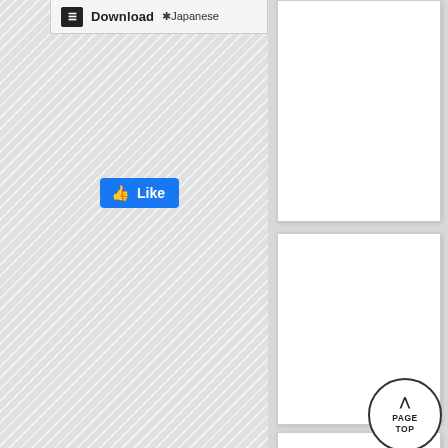[Figure (screenshot): Download button with menu icon and Japanese language label on striped background]
[Figure (screenshot): Facebook Like button (blue, with thumbs up icon)]
[Figure (screenshot): PAGE TOP circular button with upward chevron arrow at bottom right]